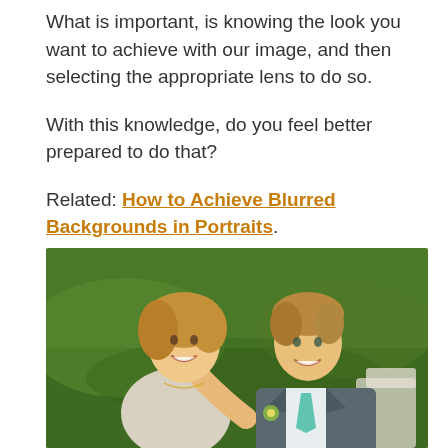What is important, is knowing the look you want to achieve with our image, and then selecting the appropriate lens to do so.
With this knowledge, do you feel better prepared to do that?
Related: How to Achieve Blurred Backgrounds in Portraits.
[Figure (photo): Portrait photo of a smiling couple, a woman leaning over a man's shoulder. Both are dressed formally — she in a light dress, he in a grey suit with a teal tie. Green grass background.]